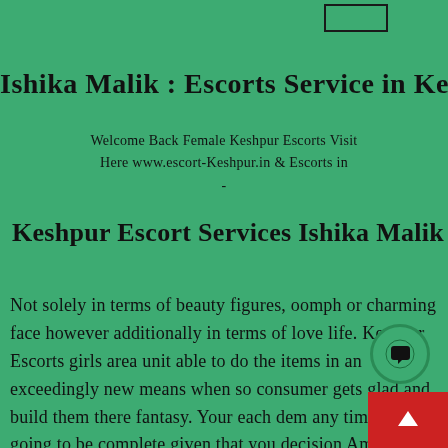[Figure (other): Small empty rectangle outline near top right of page]
Ishika Malik : Escorts Service in Keshpur
Welcome Back Female Keshpur Escorts Visit Here www.escort-Keshpur.in & Escorts in -
Keshpur Escort Services Ishika Malik
Not solely in terms of beauty figures, oomph or charming face however additionally in terms of love life. Keshpur Escorts girls area unit able to do the items in an exceedingly new means when so consumer gets glad and build them there fantasy. Your each dem any time are going to be complete given that you decision America for the amenities. Therefore if you thinking for the new operatic stars body otherwise you
[Figure (other): Green circular chat button with speech bubble icon]
[Figure (other): Red rectangular scroll-to-top button with up arrow]